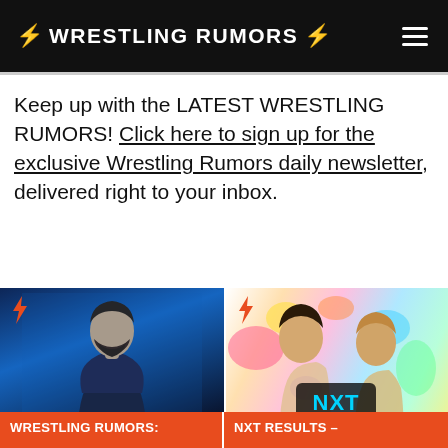⚡ WRESTLING RUMORS ⚡
Keep up with the LATEST WRESTLING RUMORS! Click here to sign up for the exclusive Wrestling Rumors daily newsletter, delivered right to your inbox.
[Figure (photo): Photo of a wrestler with dark hair and beard wearing a leather jacket, lit with blue stage lighting]
WRESTLING RUMORS:
[Figure (photo): NXT promotional image showing two male wrestlers against a colorful paint-splatter background with NXT logo and 'TONIGHT 8/7c' text]
NXT RESULTS –